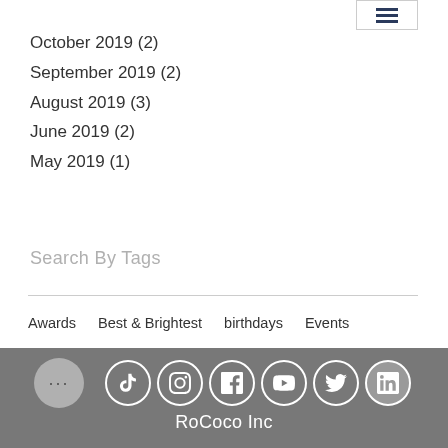October 2019 (2)
September 2019 (2)
August 2019 (3)
June 2019 (2)
May 2019 (1)
Search By Tags
Awards  Best & Brightest  birthdays  Events  Expansion  Growth  Halloween  Holidays  Milwaukee  Personal Development  Philanthropy  Promotions  RoCoco Inc  Summer  Team  Travel
RoCoco Inc